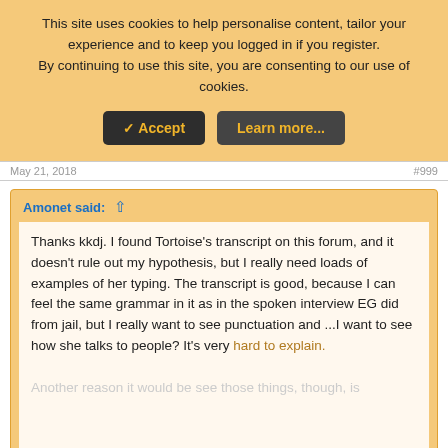This site uses cookies to help personalise content, tailor your experience and to keep you logged in if you register.
By continuing to use this site, you are consenting to our use of cookies.
✓ Accept | Learn more...
May 21, 2018
Amonet said: ↑
Thanks kkdj. I found Tortoise's transcript on this forum, and it doesn't rule out my hypothesis, but I really need loads of examples of her typing. The transcript is good, because I can feel the same grammar in it as in the spoken interview EG did from jail, but I really want to see punctuation and ...I want to see how she talks to people? It's very hard to explain.
Another reason it would be nice to discover those things, though, is
Click to expand...
The ...